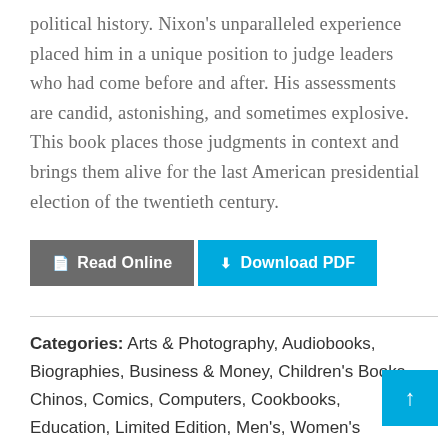political history. Nixon's unparalleled experience placed him in a unique position to judge leaders who had come before and after. His assessments are candid, astonishing, and sometimes explosive. This book places those judgments in context and brings them alive for the last American presidential election of the twentieth century.
Read Online | Download PDF
Categories: Arts & Photography, Audiobooks, Biographies, Business & Money, Children's Books, Chinos, Comics, Computers, Cookbooks, Education, Limited Edition, Men's, Women's